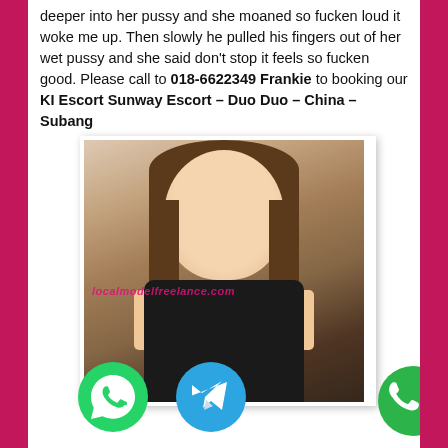deeper into her pussy and she moaned so fucken loud it woke me up. Then slowly he pulled his fingers out of her wet pussy and she said don't stop it feels so fucken good. Please call to 018-6622349 Frankie to booking our KI Escort Sunway Escort – Duo Duo – China – Subang
[Figure (photo): Photo of a young woman with long brown hair wearing a black outfit, with a watermark 'localmodelfreelance.com' overlaid in pink text]
[Figure (logo): WhatsApp green icon, Telegram blue icon, and phone call green icon at bottom]